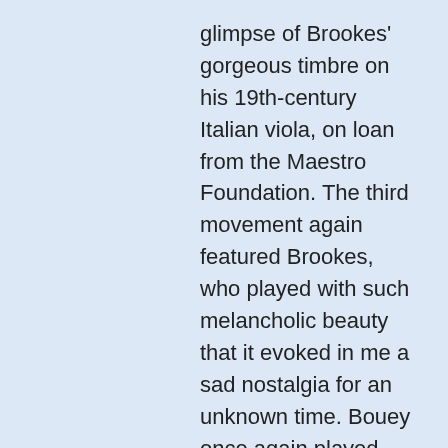glimpse of Brookes' gorgeous timbre on his 19th-century Italian viola, on loan from the Maestro Foundation. The third movement again featured Brookes, who played with such melancholic beauty that it evoked in me a sad nostalgia for an unknown time. Bouey once again played with such infectious passion, with the contrasting tones of the two violins complimenting each other. The quartet then seamlessly transitioned to the insistent grandeur of the fourth movement, finishing with a flourish.
The second half started with “On The Nature of Daylight” by Max Richter, arranged by Bouey herself. Banerdt gave us a stirring rendition of this haunting melody, a piece often used in